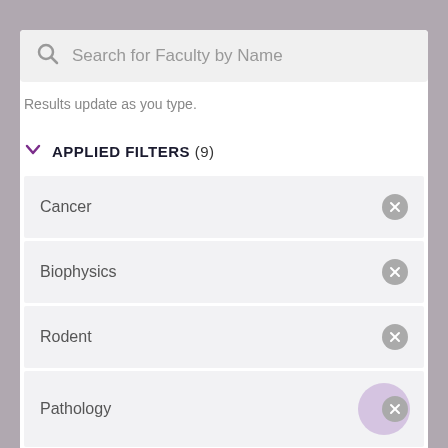[Figure (screenshot): Search bar with magnifying glass icon and placeholder text 'Search for Faculty by Name' on a light gray background]
Results update as you type.
APPLIED FILTERS (9)
Cancer
Biophysics
Rodent
Pathology
Imaging